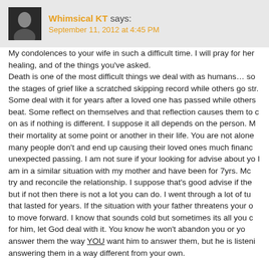Whimsical KT says:
September 11, 2012 at 4:45 PM
My condolences to your wife in such a difficult time. I will pray for her healing, and of the things you've asked.
Death is one of the most difficult things we deal with as humans… so the stages of grief like a scratched skipping record while others go str. Some deal with it for years after a loved one has passed while others beat. Some reflect on themselves and that reflection causes them to c on as if nothing is different. I suppose it all depends on the person. M their mortality at some point or another in their life. You are not alone many people don't and end up causing their loved ones much financ unexpected passing. I am not sure if your looking for advise about yo I am in a similar situation with my mother and have been for 7yrs. Mc try and reconcile the relationship. I suppose that's good advise if the but if not then there is not a lot you can do. I went through a lot of tu that lasted for years. If the situation with your father threatens your o to move forward. I know that sounds cold but sometimes its all you c for him, let God deal with it. You know he won't abandon you or yo answer them the way YOU want him to answer them, but he is listeni answering them in a way different from your own.